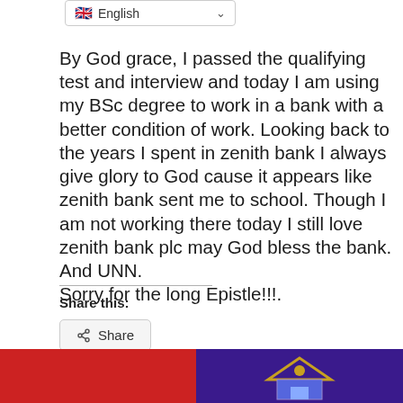[Figure (screenshot): Language selector dropdown showing UK flag and 'English' with a dropdown chevron]
By God grace, I passed the qualifying test and interview and today I am using my BSc degree to work in a bank with a better condition of work. Looking back to the years I spent in zenith bank I always give glory to God cause it appears like zenith bank sent me to school. Though I am not working there today I still love zenith bank plc may God bless the bank. And UNN.
Sorry for the long Epistle!!!!!.
Share this:
[Figure (screenshot): Share button with share icon]
[Figure (photo): Two partial images at the bottom: a red image on the left and a purple/blue image with a house/building logo on the right]